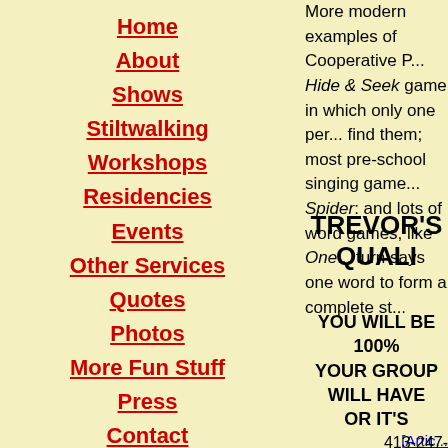Home
About
Shows
Stiltwalking
Workshops
Residencies
Events
Other Services
Quotes
Photos
More Fun Stuff
Press
Contact
Links
More modern examples of Cooperative P... Hide & Seek game in which only one per... find them; most pre-school singing game... Spider: and lots of word games, like One... turn says one word to form a complete st...
TREVOR'S QUALI...
YOU WILL BE 100%
YOUR GROUP WILL HAVE
OR IT'S
[Artic...
[Abo...
413-247-
trevor@trevortheg...
PO Box 463, Hayde...